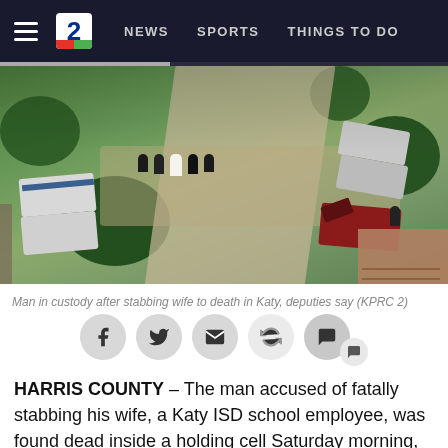NEWS  SPORTS  THINGS TO DO
[Figure (photo): Aerial view of a residential street with police cars and officers gathered around a driveway. Multiple police vehicles are visible, people standing in a group. Trees and a red car parked nearby. A brown building/garage in the lower right.]
Man in custody after stabbing wife to death in Katy, deputies say (KPRC 2)
HARRIS COUNTY – The man accused of fatally stabbing his wife, a Katy ISD school employee, was found dead inside a holding cell Saturday morning, Sheriff Ed Gonzalez said.